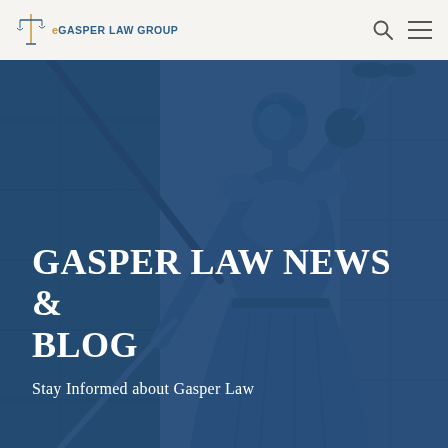GASPER LAW GROUP
[Figure (photo): Blue-tinted photo of a Lady Justice statue holding scales and a sword, used as a hero background image for the Gasper Law blog page]
GASPER LAW NEWS & BLOG
Stay Informed about Gasper Law